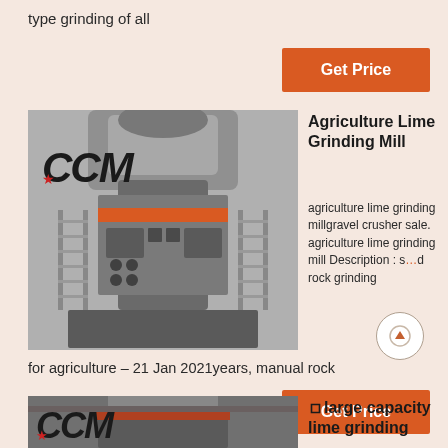type grinding of all
Get Price
[Figure (photo): CCM industrial grinding mill machine, large industrial equipment with ladders and mechanical components, gray/dark metal, CCM logo on front]
Agriculture Lime Grinding Mill
agriculture lime grinding millgravel crusher sale. agriculture lime grinding mill Description : s...d rock grinding... for agriculture – 21 Jan 2021years, manual rock
Get Price
[Figure (photo): CCM industrial lime grinding machine, partial view at bottom of page, CCM logo visible]
🗆large capacity lime grinding